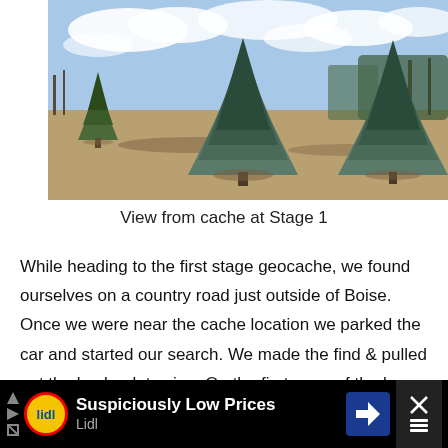[Figure (photo): Landscape photo showing a open field with several blue spruce/evergreen trees in the foreground, dry brown grass, bare deciduous trees in the background, and a partly cloudy sky. Winter or early spring scene near Boise, Idaho.]
View from cache at Stage 1
While heading to the first stage geocache, we found ourselves on a country road just outside of Boise.  Once we were near the cache location we parked the car and started our search.  We made the find & pulled out the log book to sign.  On the first page of the log was an explanation that this cache was part of series leading to the main cache.  There was a letter
[Figure (other): Advertisement banner for Lidl grocery store with text 'Suspiciously Low Prices' and Lidl logo. Black background with navigation arrow icon.]